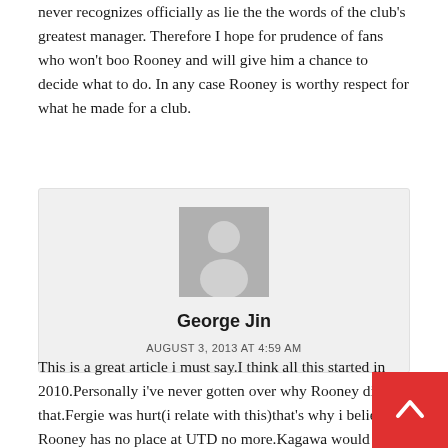never recognizes officially as lie the the words of the club's greatest manager. Therefore I hope for prudence of fans who won't boo Rooney and will give him a chance to decide what to do. In any case Rooney is worthy respect for what he made for a club.
[Figure (illustration): User avatar placeholder — grey silhouette of a person on grey background]
George Jin
AUGUST 3, 2013 AT 4:59 AM
This is a great article i must say.I think all this started in 2010.Personally i've never gotten over why Rooney did that.Fergie was hurt(i relate with this)that's why i believe Rooney has no place at UTD no more.Kagawa would take